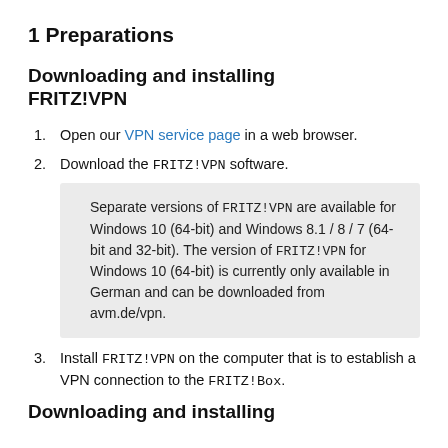1 Preparations
Downloading and installing FRITZ!VPN
Open our VPN service page in a web browser.
Download the FRITZ!VPN software.
Separate versions of FRITZ!VPN are available for Windows 10 (64-bit) and Windows 8.1 / 8 / 7 (64-bit and 32-bit). The version of FRITZ!VPN for Windows 10 (64-bit) is currently only available in German and can be downloaded from avm.de/vpn.
Install FRITZ!VPN on the computer that is to establish a VPN connection to the FRITZ!Box.
Downloading and installing